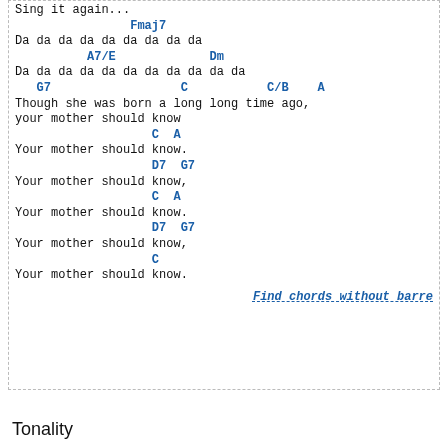Sing it again...
Fmaj7
Da da da da da da da da da
          A7/E             Dm
Da da da da da da da da da da da
   G7                  C           C/B    A
Though she was born a long long time ago,
your mother should know
                   C  A
Your mother should know.
                   D7  G7
Your mother should know,
                   C  A
Your mother should know.
                   D7  G7
Your mother should know,
                   C
Your mother should know.
Find chords without barre
Tonality